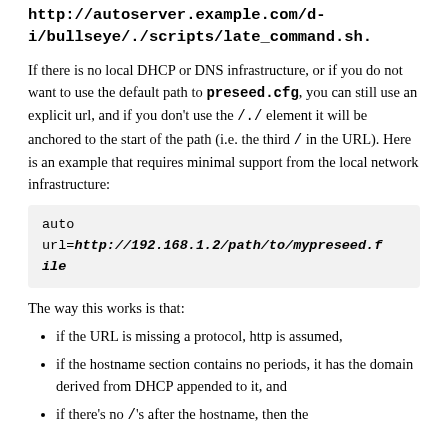http://autoserver.example.com/d-i/bullseye/./scripts/late_command.sh.
If there is no local DHCP or DNS infrastructure, or if you do not want to use the default path to preseed.cfg, you can still use an explicit url, and if you don't use the /./ element it will be anchored to the start of the path (i.e. the third / in the URL). Here is an example that requires minimal support from the local network infrastructure:
auto
url=http://192.168.1.2/path/to/mypreseed.file
The way this works is that:
if the URL is missing a protocol, http is assumed,
if the hostname section contains no periods, it has the domain derived from DHCP appended to it, and
if there's no /'s after the hostname, then the